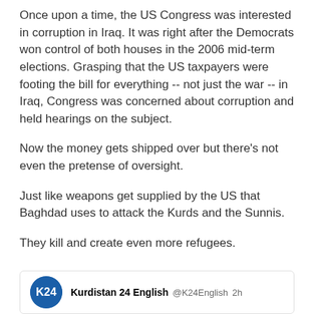Once upon a time, the US Congress was interested in corruption in Iraq.  It was right after the Democrats won control of both houses in the 2006 mid-term elections.  Grasping that the US taxpayers were footing the bill for everything -- not just the war -- in Iraq, Congress was concerned about corruption and held hearings on the subject.
Now the money gets shipped over but there's not even the pretense of oversight.
Just like weapons get supplied by the US that Baghdad uses to attack the Kurds and the Sunnis.
They kill and create even more refugees.
Kurdistan 24 English @K24English  2h